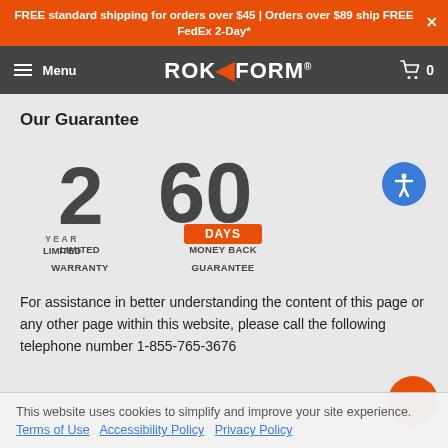FREE standard shipping for orders over $45 | Orders over $89 ship FREE FedEx 2-Day*
[Figure (logo): ROK FORM logo and navigation bar with hamburger menu and cart icon showing 0 items]
Our Guarantee
[Figure (infographic): 2 YEAR LIMITED WARRANTY badge and 60 DAYS MONEY BACK GUARANTEE badge, with accessibility icon button]
For assistance in better understanding the content of this page or any other page within this website, please call the following telephone number 1-855-765-3676
This website uses cookies to simplify and improve your site experience. Terms of Use Accessibility Policy Privacy Policy